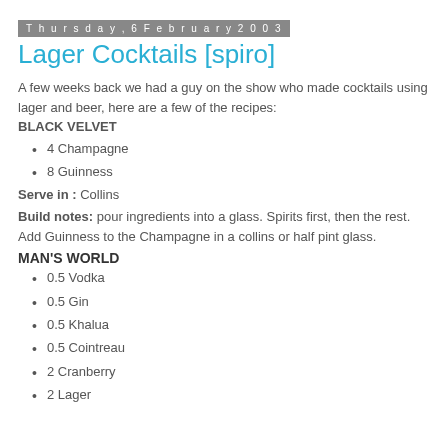Thursday, 6 February 2003
Lager Cocktails [spiro]
A few weeks back we had a guy on the show who made cocktails using lager and beer, here are a few of the recipes:
BLACK VELVET
4 Champagne
8 Guinness
Serve in : Collins
Build notes: pour ingredients into a glass. Spirits first, then the rest. Add Guinness to the Champagne in a collins or half pint glass.
MAN'S WORLD
0.5 Vodka
0.5 Gin
0.5 Khalua
0.5 Cointreau
2 Cranberry
2 Lager